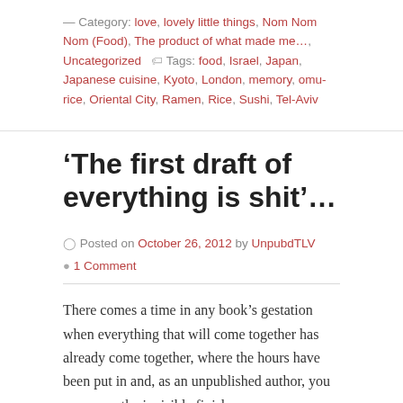Category: love, lovely little things, Nom Nom Nom (Food), The product of what made me…, Uncategorized   Tags: food, Israel, Japan, Japanese cuisine, Kyoto, London, memory, omu-rice, Oriental City, Ramen, Rice, Sushi, Tel-Aviv
'The first draft of everything is shit'…
Posted on October 26, 2012 by UnpubdTLV
1 Comment
There comes a time in any book's gestation when everything that will come together has already come together, where the hours have been put in and, as an unpublished author, you can sense the invisible finish-